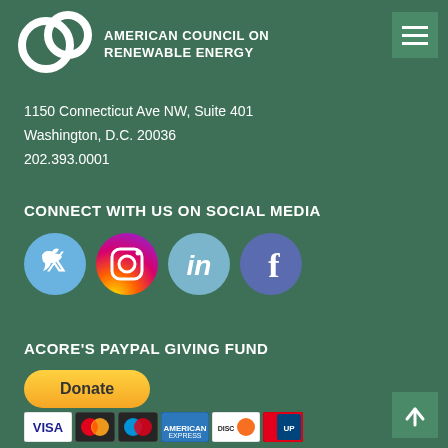[Figure (logo): American Council on Renewable Energy logo with circular rings and organization name]
1150 Connecticut Ave NW, Suite 401
Washington, D.C. 20036
202.393.0001
CONNECT WITH US ON SOCIAL MEDIA
[Figure (illustration): Social media icons: Twitter, Instagram, LinkedIn, Facebook]
ACORE'S PAYPAL GIVING FUND
[Figure (illustration): PayPal Donate button with payment method icons: Visa, Mastercard, Maestro, American Express, Discover, Union Pay]